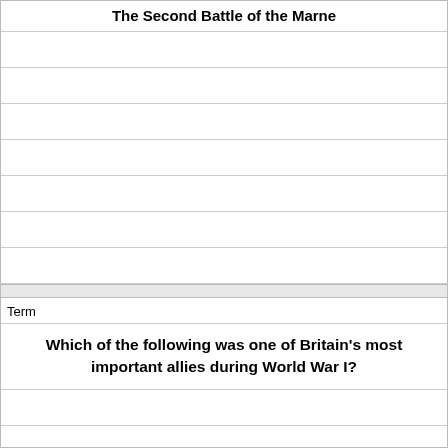The Second Battle of the Marne
Term
Which of the following was one of Britain's most important allies during World War I?